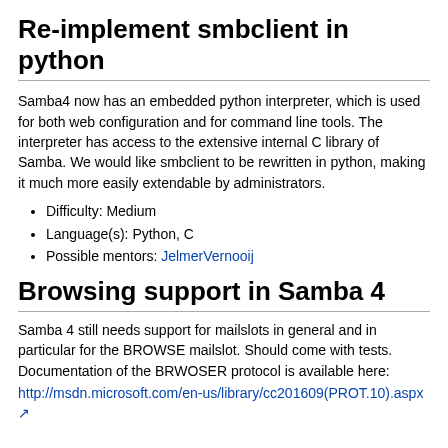Re-implement smbclient in python
Samba4 now has an embedded python interpreter, which is used for both web configuration and for command line tools. The interpreter has access to the extensive internal C library of Samba. We would like smbclient to be rewritten in python, making it much more easily extendable by administrators.
Difficulty: Medium
Language(s): Python, C
Possible mentors: JelmerVernooij
Browsing support in Samba 4
Samba 4 still needs support for mailslots in general and in particular for the BROWSE mailslot. Should come with tests. Documentation of the BRWOSER protocol is available here:
http://msdn.microsoft.com/en-us/library/cc201609(PROT.10).aspx